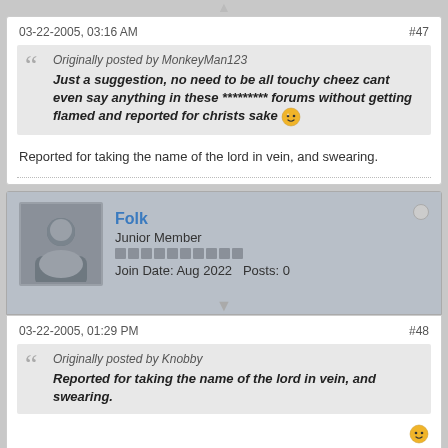03-22-2005, 03:16 AM
#47
Originally posted by MonkeyMan123
Just a suggestion, no need to be all touchy cheez cant even say anything in these ********* forums without getting flamed and reported for christs sake
Reported for taking the name of the lord in vein, and swearing.
Folk
Junior Member
Join Date: Aug 2022   Posts: 0
03-22-2005, 01:29 PM
#48
Originally posted by Knobby
Reported for taking the name of the lord in vein, and swearing.